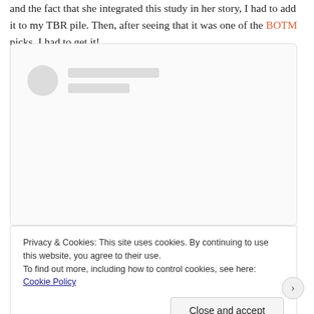and the fact that she integrated this study in her story, I had to add it to my TBR pile. Then, after seeing that it was one of the BOTM picks, I had to get it!
[Figure (screenshot): A loading card placeholder with a grey circle avatar and two grey rectangle loading bars]
Privacy & Cookies: This site uses cookies. By continuing to use this website, you agree to their use.
To find out more, including how to control cookies, see here: Cookie Policy
Close and accept